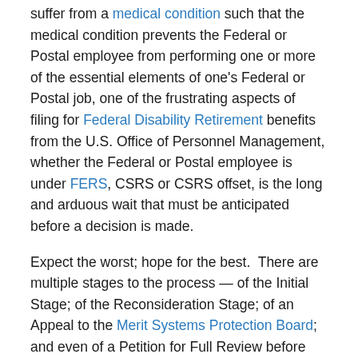suffer from a medical condition such that the medical condition prevents the Federal or Postal employee from performing one or more of the essential elements of one's Federal or Postal job, one of the frustrating aspects of filing for Federal Disability Retirement benefits from the U.S. Office of Personnel Management, whether the Federal or Postal employee is under FERS, CSRS or CSRS offset, is the long and arduous wait that must be anticipated before a decision is made.
Expect the worst; hope for the best. There are multiple stages to the process — of the Initial Stage; of the Reconsideration Stage; of an Appeal to the Merit Systems Protection Board; and even of a Petition for Full Review before the MSPB.
Thus, if you took all of the multiple stages, the "wait time"